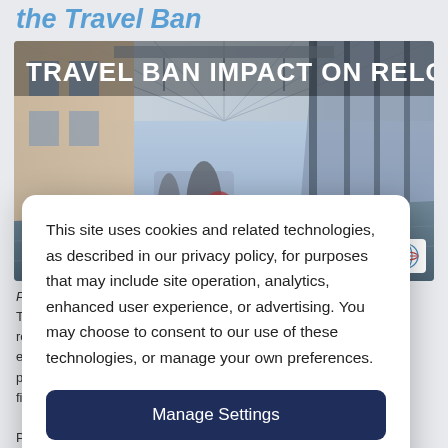the Travel Ban
[Figure (photo): Airport corridor/jetway scene with motion-blurred travelers, steel and glass architecture. Text overlay reads: TRAVEL BAN IMPACT ON RELOCATION]
This site uses cookies and related technologies, as described in our privacy policy, for purposes that may include site operation, analytics, enhanced user experience, or advertising. You may choose to consent to our use of these technologies, or manage your own preferences.
Manage Settings
Accept
Decline All
Pa
Th of six res road ex ents, pe a fid s.
Pl